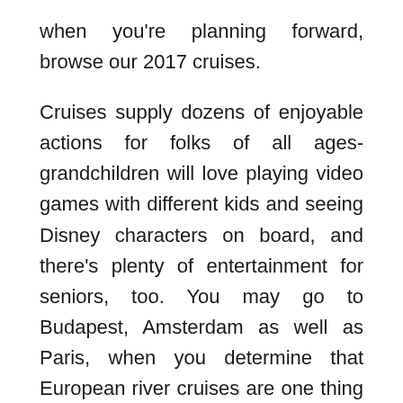when you're planning forward, browse our 2017 cruises.
Cruises supply dozens of enjoyable actions for folks of all ages-grandchildren will love playing video games with different kids and seeing Disney characters on board, and there's plenty of entertainment for seniors, too. You may go to Budapest, Amsterdam as well as Paris, when you determine that European river cruises are one thing you want to explore.
A few of them that are well known are Carnival Cruises, Hebridean Island cruises, Movie Star Cruises, Costa Cruises, cruise Crystal, Holland